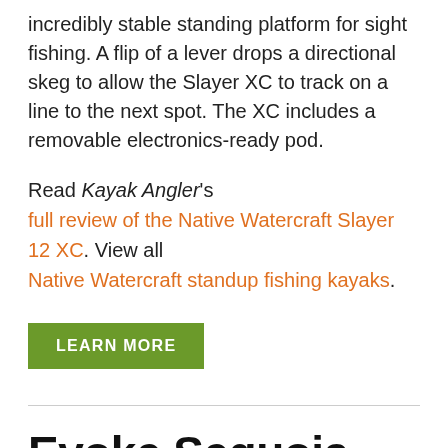incredibly stable standing platform for sight fishing. A flip of a lever drops a directional skeg to allow the Slayer XC to track on a line to the next spot. The XC includes a removable electronics-ready pod.
Read Kayak Angler's full review of the Native Watercraft Slayer 12 XC. View all Native Watercraft standup fishing kayaks.
LEARN MORE
Evoke Sequoia 120